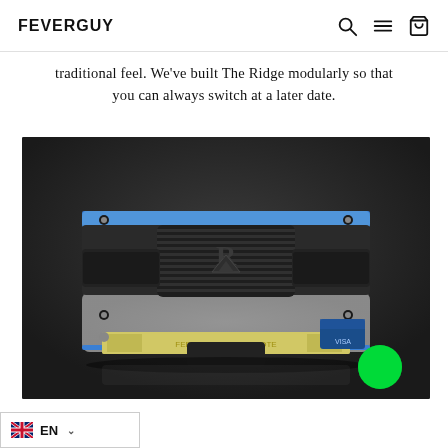FEVERGUY — navigation icons: search, menu, cart
traditional feel. We've built The Ridge modularly so that you can always switch at a later date.
[Figure (photo): Product photo of The Ridge wallet — a slim metal card holder with blue anodized aluminum plates, elastic band, cash strap holding dollar bills, and the Ridge mountain logo embossed on the elastic. The wallet sits on a dark gray surface. A bright green circle icon is visible in the lower right of the photo.]
EN (language selector with UK flag)